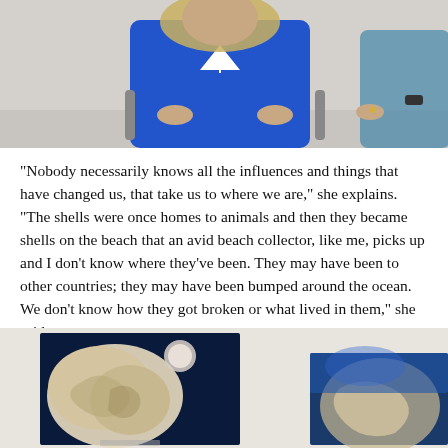[Figure (photo): Photo of a person in a blue sailboat t-shirt seated in a wheelchair, with another person visible on the right side. Cropped at the torso level.]
"Nobody necessarily knows all the influences and things that have changed us, that take us to where we are," she explains. "The shells were once homes to animals and then they became shells on the beach that an avid beach collector, like me, picks up and I don't know where they've been. They may have been to other countries; they may have been bumped around the ocean. We don't know how they got broken or what lived in them," she said.
[Figure (photo): Photo of two paintings hanging on a wall: left painting shows oyster shells on a dark blue background with a pearl/moon, right painting shows a shell or similar subject on a blue textured background.]